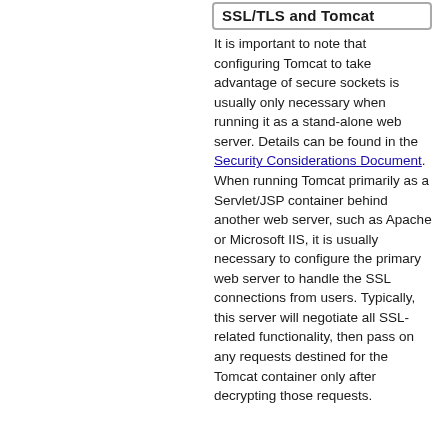SSL/TLS and Tomcat
It is important to note that configuring Tomcat to take advantage of secure sockets is usually only necessary when running it as a stand-alone web server. Details can be found in the Security Considerations Document. When running Tomcat primarily as a Servlet/JSP container behind another web server, such as Apache or Microsoft IIS, it is usually necessary to configure the primary web server to handle the SSL connections from users. Typically, this server will negotiate all SSL-related functionality, then pass on any requests destined for the Tomcat container only after decrypting those requests.